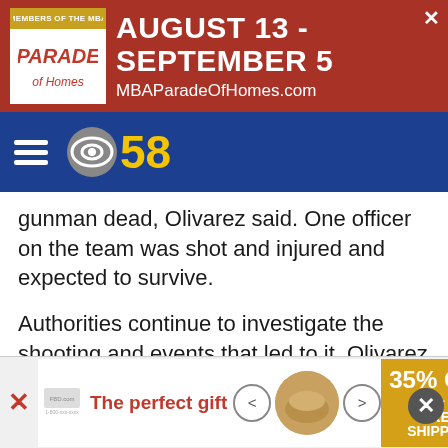[Figure (screenshot): Top banner advertisement for Parade of Homes, August 13 - September 5, MBAParadeOfHomes.com, on red/brown background]
[Figure (logo): CBS 58 navigation bar logo on dark blue background with hamburger menu icon]
gunman dead, Olivarez said. One officer on the team was shot and injured and expected to survive.
Authorities continue to investigate the shooting and events that led to it, Olivarez told CNN.
"Right now we're trying to provide further closure for the families by having a thorough investigation, trying to exactly identify what caused this mass shooting, what triggered this," he said.
[Figure (screenshot): Bottom advertisement banner: The perfect gift, 35% OFF + FREE SHIPPING, with food image and navigation arrows]